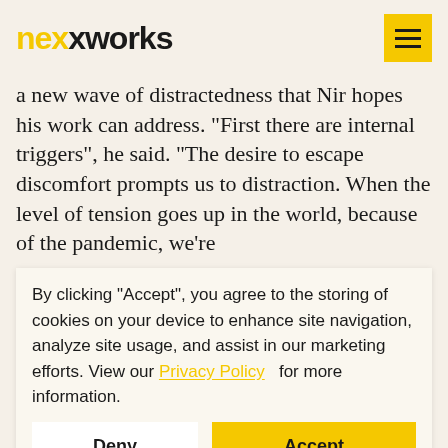nexxworks
a new wave of distractedness that Nir hopes his work can address. "First there are internal triggers", he said. “The desire to escape discomfort prompts us to distraction. When the level of tension goes up in the world, because of the pandemic, we’re
By clicking “Accept”, you agree to the storing of cookies on your device to enhance site navigation, analyze site usage, and assist in our marketing efforts. View our Privacy Policy  for more information.
distraction in the workplace was colleagues. Today